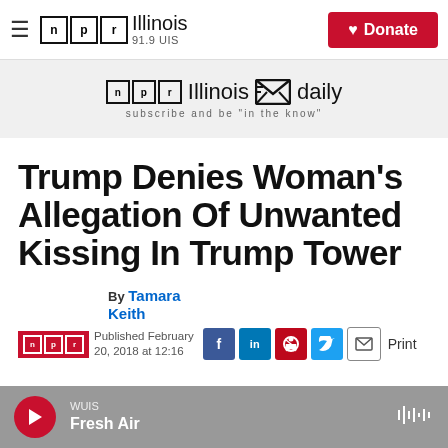NPR Illinois 91.9 UIS
[Figure (screenshot): NPR Illinois daily newsletter banner with envelope icon and subscribe tagline]
Trump Denies Woman's Allegation Of Unwanted Kissing In Trump Tower
By Tamara Keith
Published February 20, 2018 at 12:16
WUIS Fresh Air